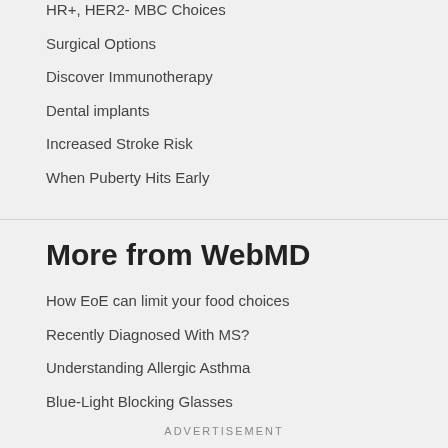HR+, HER2- MBC Choices
Surgical Options
Discover Immunotherapy
Dental implants
Increased Stroke Risk
When Puberty Hits Early
More from WebMD
How EoE can limit your food choices
Recently Diagnosed With MS?
Understanding Allergic Asthma
Blue-Light Blocking Glasses
ADVERTISEMENT